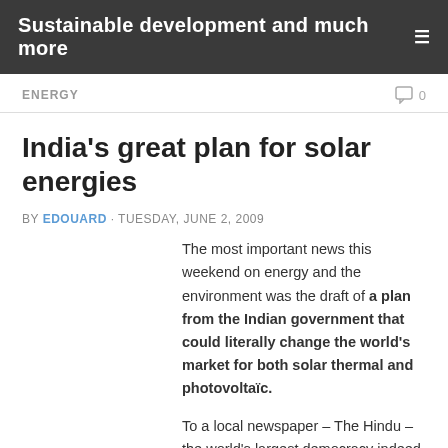Sustainable development and much more
ENERGY
India's great plan for solar energies
BY EDOUARD · TUESDAY, JUNE 2, 2009
The most important news this weekend on energy and the environment was the draft of a plan from the Indian government that could literally change the world's market for both solar thermal and photovoltaïc.
To a local newspaper – The Hindu – the world's largest democracy indeed would like to have 20 GW of solar energies by 2020, 100 GW by 2030 to finally reach 200 GW twenty years later.
This is being an ambitious but – will be – not so if it is...